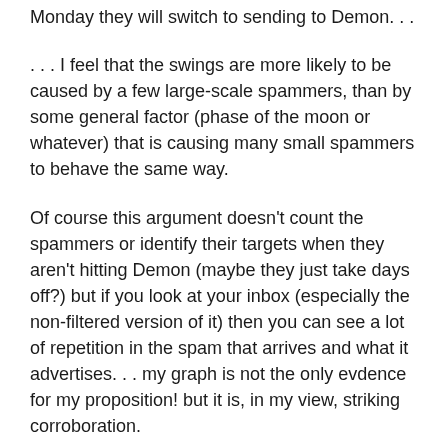Monday they will switch to sending to Demon. . .
. . . I feel that the swings are more likely to be caused by a few large-scale spammers, than by some general factor (phase of the moon or whatever) that is causing many small spammers to behave the same way.
Of course this argument doesn't count the spammers or identify their targets when they aren't hitting Demon (maybe they just take days off?) but if you look at your inbox (especially the non-filtered version of it) then you can see a lot of repetition in the spam that arrives and what it advertises. . . my graph is not the only evdence for my proposition! but it is, in my view, striking corroboration.